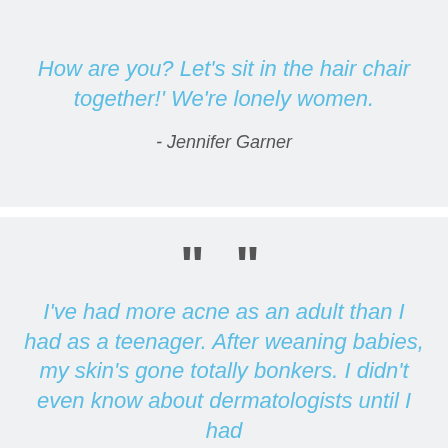How are you? Let’s sit in the hair chair together!’ We’re lonely women.
- Jennifer Garner
“”
I’ve had more acne as an adult than I had as a teenager. After weaning babies, my skin’s gone totally bonkers. I didn’t even know about dermatologists until I had